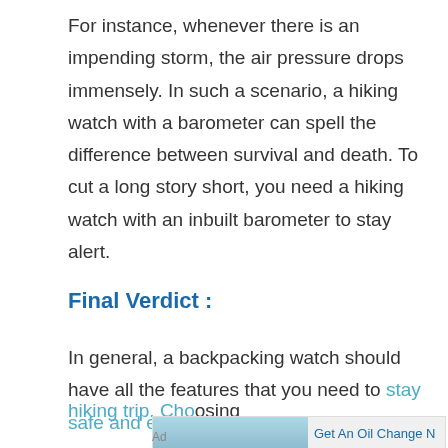For instance, whenever there is an impending storm, the air pressure drops immensely. In such a scenario, a hiking watch with a barometer can spell the difference between survival and death. To cut a long story short, you need a hiking watch with an inbuilt barometer to stay alert.
Final Verdict :
In general, a backpacking watch should have all the features that you need to stay safe and enjoy your hiking trip. Choosing...
[Figure (photo): Advertisement showing a Firestone auto care building storefront with text 'Get An Oil Change Near You']